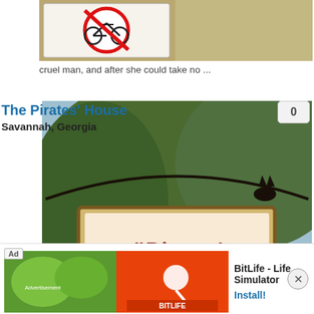on ghost tours. Irish immigrant Alice Riley was allegedly the first woman to be executed in Georgia. She was the indentured servant to a cruel man, and after she could take no ...
[Figure (photo): Sign with red circle and crossed-out bicycle icon]
The Pirates' House
Savannah, Georgia
48.4 miles from Hampton County, SC
At this 1753 tavern building, originally a sailors' pub, you may just get a climpse of the ghost of Captain Flint of "Treasure Island" fame. Some say this is the spot where the pirate died upstairs, although others say Flint is a fictitious character. Regardless, something spectral appears to be ...
[Figure (photo): The Pirates' House sign with parking sign below, trees in background]
Oglethorpe House
Savannah, Georgia
48.4 miles from Hampton County, SC
[Figure (photo): Modern building exterior with glass facade]
[Figure (screenshot): BitLife - Life Simulator advertisement banner with install button]